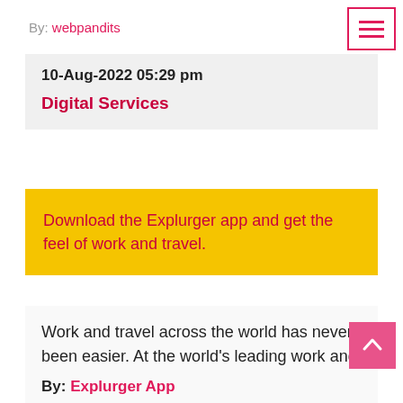By: webpandits
10-Aug-2022 05:29 pm
Digital Services
Download the Explurger app and get the feel of work and travel.
Work and travel across the world has never been easier. At the world's leading work and travel marketplace, you can discover and join the best real-wo...
By: Explurger App